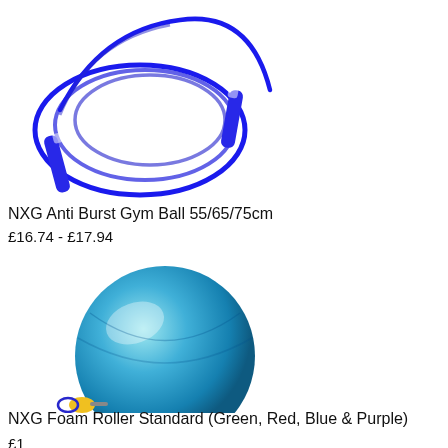[Figure (photo): Blue jump rope with transparent handles and blue cord, coiled on white background]
NXG Anti Burst Gym Ball 55/65/75cm
£16.74 - £17.94
[Figure (photo): Metallic blue exercise/gym ball with a small yellow pump with blue base below it]
NXG Foam Roller Standard (Green, Red, Blue & Purple)
£1